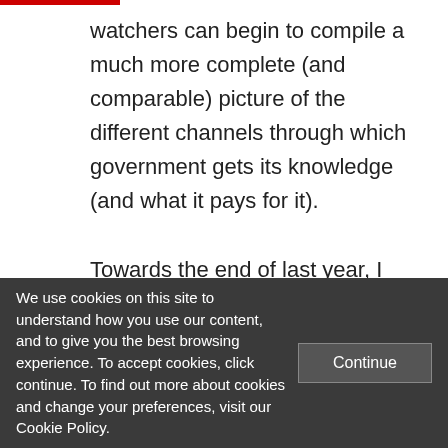watchers can begin to compile a much more complete (and comparable) picture of the different channels through which government gets its knowledge (and what it pays for it).

Towards the end of last year, I began collecting systematically one year's worth of spending data for each UK central government department (generally from July
We use cookies on this site to understand how you use our content, and to give you the best browsing experience. To accept cookies, click continue. To find out more about cookies and change your preferences, visit our Cookie Policy.